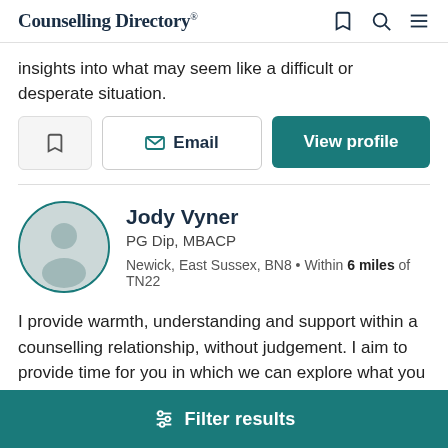Counselling Directory
insights into what may seem like a difficult or desperate situation.
Email | View profile
Jody Vyner
PG Dip, MBACP
Newick, East Sussex, BN8 • Within 6 miles of TN22
I provide warmth, understanding and support within a counselling relationship, without judgement. I aim to provide time for you in which we can explore what you most need and want, then look at what it is that could be
Filter results